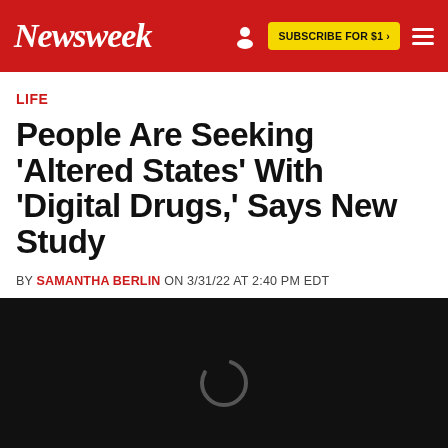Newsweek
LIFE
People Are Seeking 'Altered States' With 'Digital Drugs,' Says New Study
BY SAMANTHA BERLIN ON 3/31/22 AT 2:40 PM EDT
[Figure (other): Black loading screen with a circular loading spinner icon in the center]